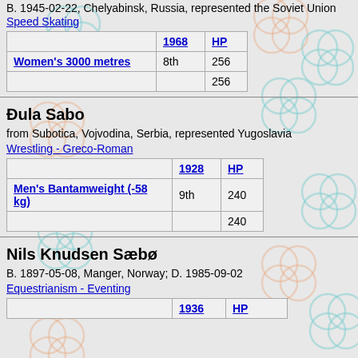B. 1945-02-22, Chelyabinsk, Russia, represented the Soviet Union
Speed Skating
|  | 1968 | HP |
| --- | --- | --- |
| Women's 3000 metres | 8th | 256 |
|  |  | 256 |
Đula Sabo
from Subotica, Vojvodina, Serbia, represented Yugoslavia
Wrestling - Greco-Roman
|  | 1928 | HP |
| --- | --- | --- |
| Men's Bantamweight (-58 kg) | 9th | 240 |
|  |  | 240 |
Nils Knudsen Sæbø
B. 1897-05-08, Manger, Norway; D. 1985-09-02
Equestrianism - Eventing
|  | 1936 | HP |
| --- | --- | --- |